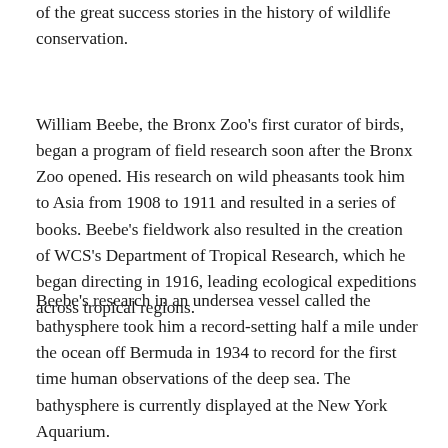of the great success stories in the history of wildlife conservation.
William Beebe, the Bronx Zoo's first curator of birds, began a program of field research soon after the Bronx Zoo opened. His research on wild pheasants took him to Asia from 1908 to 1911 and resulted in a series of books. Beebe's fieldwork also resulted in the creation of WCS's Department of Tropical Research, which he began directing in 1916, leading ecological expeditions across tropical regions.
Beebe's research in an undersea vessel called the bathysphere took him a record-setting half a mile under the ocean off Bermuda in 1934 to record for the first time human observations of the deep sea. The bathysphere is currently displayed at the New York Aquarium.